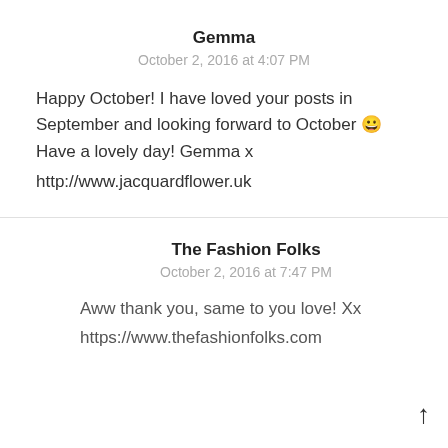Gemma
October 2, 2016 at 4:07 PM
Happy October! I have loved your posts in September and looking forward to October 😀 Have a lovely day! Gemma x
http://www.jacquardflower.uk
The Fashion Folks
October 2, 2016 at 7:47 PM
Aww thank you, same to you love! Xx
https://www.thefashionfolks.com